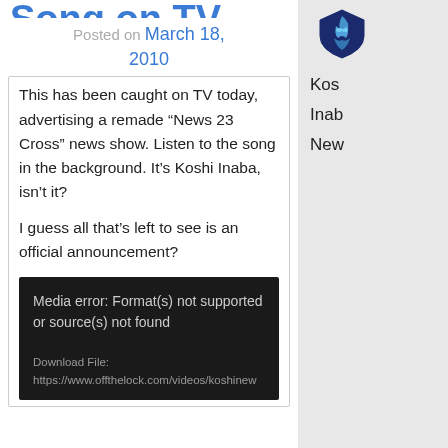Song on TV
Posted on March 18, 2010
This has been caught on TV today, advertising a remade “News 23 Cross” news show. Listen to the song in the background. It’s Koshi Inaba, isn’t it?

I guess all that’s left to see is an official announcement?
Media error: Format(s) not supported or source(s) not found

Download File: https://www.offthelock.com/videos/koshinew
[Figure (logo): Blue shield logo with dragon/flame design]
Koshi
Inaba
New